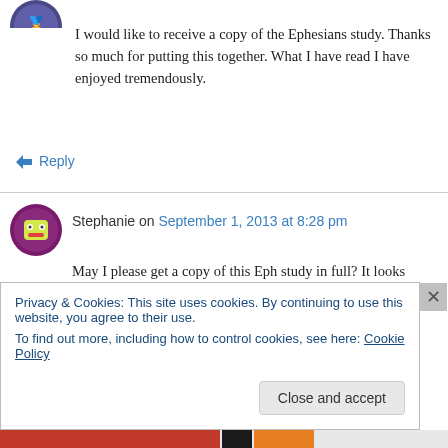[Figure (illustration): Round avatar icon with colorful design, partially visible at top-left]
I would like to receive a copy of the Ephesians study. Thanks so much for putting this together. What I have read I have enjoyed tremendously.
↳ Reply
Stephanie on September 1, 2013 at 8:28 pm
[Figure (illustration): Round avatar icon of Stephanie showing cartoon face]
May I please get a copy of this Eph study in full? It looks wonderful for my daughter!! Thank you!
Privacy & Cookies: This site uses cookies. By continuing to use this website, you agree to their use.
To find out more, including how to control cookies, see here: Cookie Policy
Close and accept